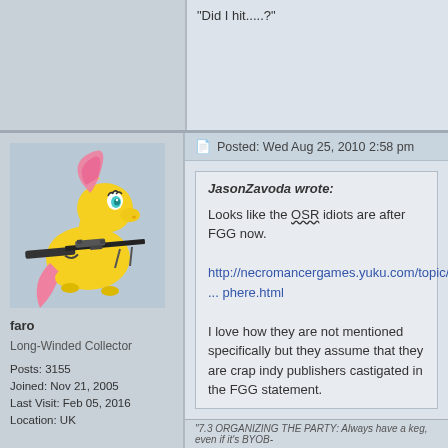"Did I hit.....?"
Posted: Wed Aug 25, 2010 2:58 pm
[Figure (illustration): Cartoon pony (Fluttershy from My Little Pony) holding a large sniper rifle, on a light blue-gray background]
faro
Long-Winded Collector

Posts: 3155
Joined: Nov 21, 2005
Last Visit: Feb 05, 2016
Location: UK
JasonZavoda wrote:
Looks like the OSR idiots are after FGG now.

http://necromancergames.yuku.com/topic/... phere.html

I love how they are not mentioned specifically but they assume that they are crap indy publishers castigated in the FGG statement.
http://odd74.proboards.com/index.cgi?ac ... hread=4645 was kinda heading that way, too...
"7.3 ORGANIZING THE PARTY: Always have a keg, even if it's BYOB-